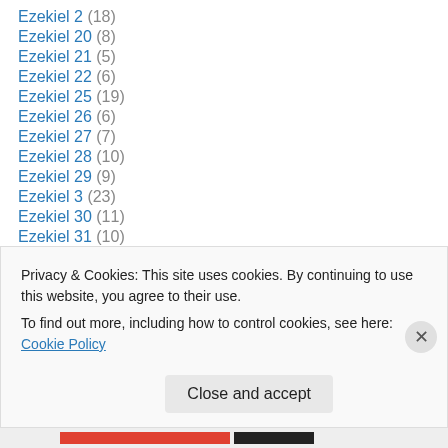Ezekiel 2 (18)
Ezekiel 20 (8)
Ezekiel 21 (5)
Ezekiel 22 (6)
Ezekiel 25 (19)
Ezekiel 26 (6)
Ezekiel 27 (7)
Ezekiel 28 (10)
Ezekiel 29 (9)
Ezekiel 3 (23)
Ezekiel 30 (11)
Ezekiel 31 (10)
Ezekiel 32 (9)
Privacy & Cookies: This site uses cookies. By continuing to use this website, you agree to their use. To find out more, including how to control cookies, see here: Cookie Policy
Close and accept